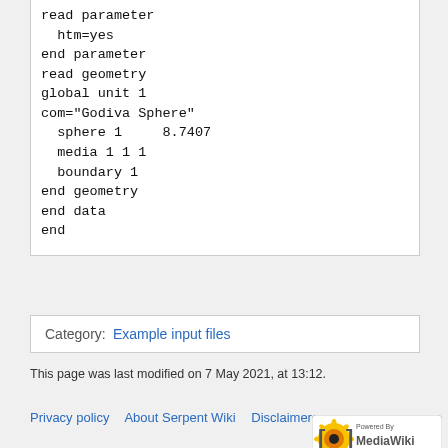read parameter
  htm=yes
end parameter
read geometry
global unit 1
com="Godiva Sphere"
  sphere 1     8.7407
  media 1 1 1
  boundary 1
end geometry
end data
end
Category:  Example input files
This page was last modified on 7 May 2021, at 13:12.
Privacy policy   About Serpent Wiki   Disclaimers